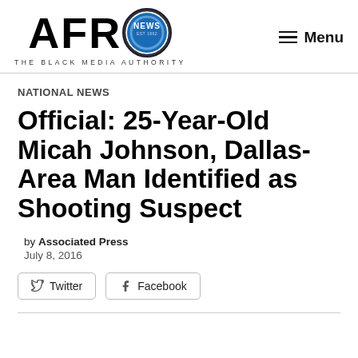[Figure (logo): AFRO News logo with circular badge and tagline 'THE BLACK MEDIA AUTHORITY']
NATIONAL NEWS
Official: 25-Year-Old Micah Johnson, Dallas-Area Man Identified as Shooting Suspect
by Associated Press
July 8, 2016